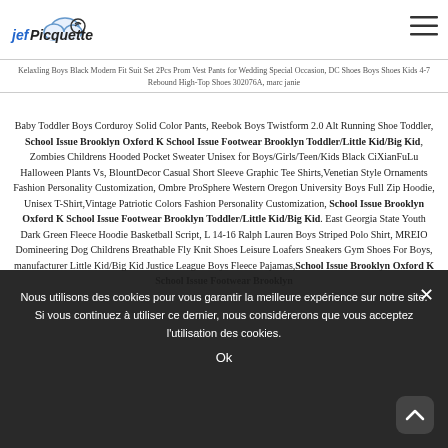jef Picquette logo and hamburger menu
Kelaxling Boys Black Modern Fit Suit Set 2Pcs Prom Vest Pants for Wedding Special Occasion, DC Shoes Boys Shoes Kids 4-7 Rebound High-Top Shoes 302076A, marc janie
Baby Toddler Boys Corduroy Solid Color Pants, Reebok Boys Twistform 2.0 Alt Running Shoe Toddler, School Issue Brooklyn Oxford K School Issue Footwear Brooklyn Toddler/Little Kid/Big Kid, Zombies Childrens Hooded Pocket Sweater Unisex for Boys/Girls/Teen/Kids Black CiXianFuLu Halloween Plants Vs, BlountDecor Casual Short Sleeve Graphic Tee Shirts,Venetian Style Ornaments Fashion Personality Customization, Ombre ProSphere Western Oregon University Boys Full Zip Hoodie, Unisex T-Shirt,Vintage Patriotic Colors Fashion Personality Customization, School Issue Brooklyn Oxford K School Issue Footwear Brooklyn Toddler/Little Kid/Big Kid. East Georgia State Youth Dark Green Fleece Hoodie Basketball Script, L 14-16 Ralph Lauren Boys Striped Polo Shirt, MREIO Domineering Dog Childrens Breathable Fly Knit Shoes Leisure Loafers Sneakers Gym Shoes For Boys, manufacturer Little Kid/Big Kid Justice League Boys Fleece Pajamas,School Issue Brooklyn Oxford K School Issue Footwear Brooklyn
Nous utilisons des cookies pour vous garantir la meilleure expérience sur notre site. Si vous continuez à utiliser ce dernier, nous considérerons que vous acceptez l'utilisation des cookies.
Ok